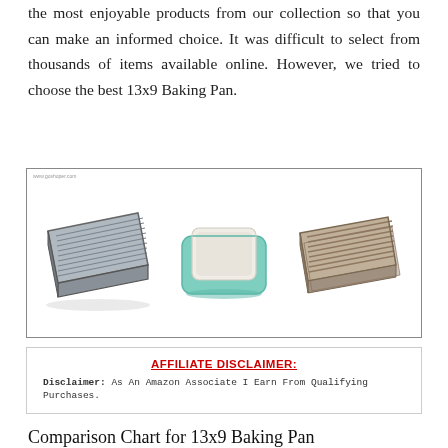the most enjoyable products from our collection so that you can make an informed choice. It was difficult to select from thousands of items available online. However, we tried to choose the best 13x9 Baking Pan.
[Figure (photo): Three baking pans: a silver ribbed rectangular metal pan on the left, a white ceramic pan in a teal/mint dish in the center, and a taupe/brown ribbed rectangular pan on the right. Small watermark text 'www.goshoper.com' in top left corner.]
AFFILIATE DISCLAIMER: Disclaimer: As An Amazon Associate I Earn From Qualifying Purchases.
Comparison Chart for 13x9 Baking Pan